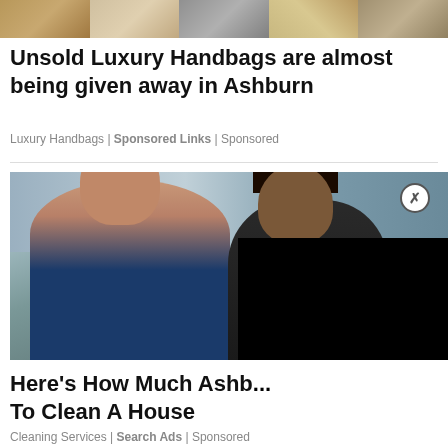[Figure (photo): Cropped image of luxury handbags at the top of the page]
Unsold Luxury Handbags are almost being given away in Ashburn
Luxury Handbags | Sponsored Links | Sponsored
[Figure (photo): Photo of two women smiling near a vehicle, related to cleaning services ad, with a black video overlay box in bottom-right and a close button]
Here's How Much Ashb... To Clean A House
Cleaning Services | Search Ads | Sponsored